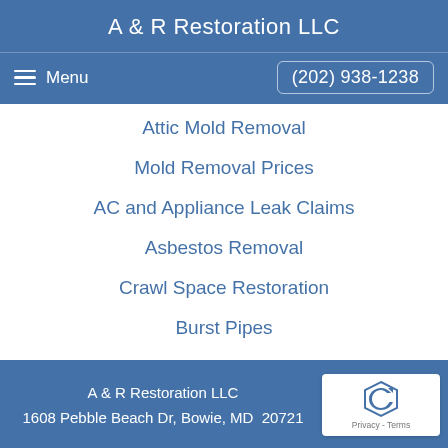A & R Restoration LLC
Menu   (202) 938-1238
Attic Mold Removal
Mold Removal Prices
AC and Appliance Leak Claims
Asbestos Removal
Crawl Space Restoration
Burst Pipes
Water Heater Leak
A & R Restoration LLC
1608 Pebble Beach Dr, Bowie, MD  20721